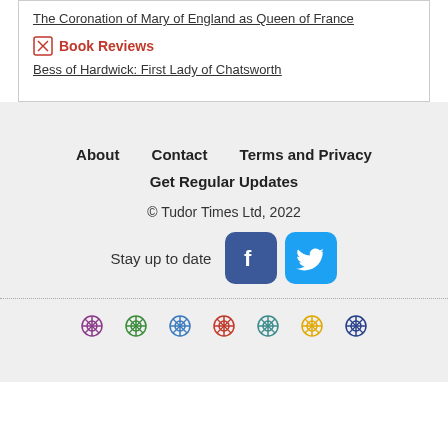The Coronation of Mary of England as Queen of France
Book Reviews
Bess of Hardwick: First Lady of Chatsworth
About   Contact   Terms and Privacy
Get Regular Updates
© Tudor Times Ltd, 2022
Stay up to date
[Figure (logo): Facebook and Twitter social media icons/buttons]
[Figure (illustration): Row of seven decorative ornamental cross/flower symbols in various colors: purple, green, blue, red, teal, orange/yellow, dark blue]